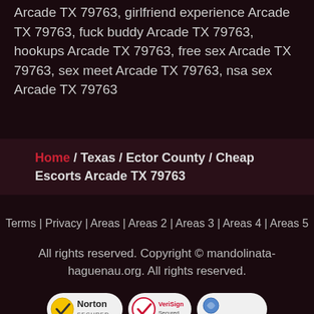Arcade TX 79763, girlfriend experience Arcade TX 79763, fuck buddy Arcade TX 79763, hookups Arcade TX 79763, free sex Arcade TX 79763, sex meet Arcade TX 79763, nsa sex Arcade TX 79763
Home / Texas / Ector County / Cheap Escorts Arcade TX 79763
Terms | Privacy | Areas | Areas 2 | Areas 3 | Areas 4 | Areas 5
All rights reserved. Copyright © mandolinata-haguenau.org. All rights reserved.
[Figure (logo): Three security badges: Norton Secured, VeriSign Secured, Online Dating Protector]